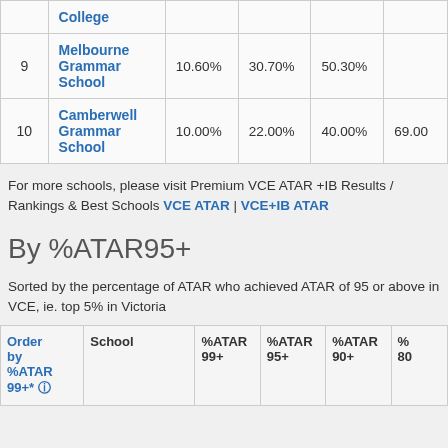|  | School | %ATAR 99+ | %ATAR 95+ | %ATAR 90+ | %ATAR 80+ |
| --- | --- | --- | --- | --- | --- |
|  | College |  |  |  |  |
| 9 | Melbourne Grammar School | 10.60% | 30.70% | 50.30% |  |
| 10 | Camberwell Grammar School | 10.00% | 22.00% | 40.00% | 69.00% |
For more schools, please visit Premium VCE ATAR +IB Results / Rankings & Best Schools VCE ATAR | VCE+IB ATAR
By %ATAR95+
Sorted by the percentage of ATAR who achieved ATAR of 95 or above in VCE, ie. top 5% in Victoria
| Order by %ATAR 99+* | School | %ATAR 99+ | %ATAR 95+ | %ATAR 90+ | % |
| --- | --- | --- | --- | --- | --- |